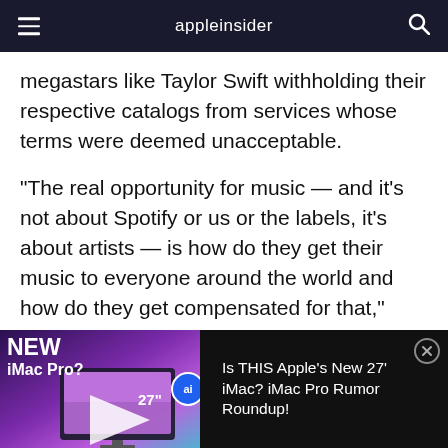appleinsider
megastars like Taylor Swift withholding their respective catalogs from services whose terms were deemed unacceptable.
"The real opportunity for music — and it's not about Spotify or us or the labels, it's about artists — is how do they get their music to everyone around the world and how do they get compensated for that," Cue said. "We both have to grow by significant amounts in order to get to
[Figure (screenshot): Advertisement banner for AppleInsider video: 'Is THIS Apple's New 27 iMac? iMac Pro Rumor Roundup!' showing a purple iMac display with 27 inch label, NEW iMac Pro text overlay, ai badge, and close button]